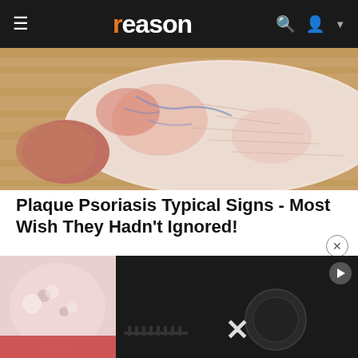reason
[Figure (photo): Close-up photo of a human foot/heel showing dry, cracked, and inflamed skin with red and blue discoloration, consistent with plaque psoriasis, resting on a wooden surface.]
Plaque Psoriasis Typical Signs - Most Wish They Hadn't Ignored!
[Figure (screenshot): Video player showing an error message: 'The media could not be loaded, either because the server or network failed or because the format is not supported.' with a play button icon and a large X dismiss button. Behind the video overlay is a partially visible photo of a medical/skin condition.]